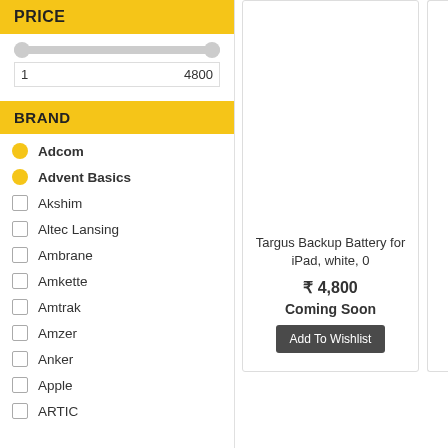PRICE
1   4800
BRAND
Adcom
Advent Basics
Akshim
Altec Lansing
Ambrane
Amkette
Amtrak
Amzer
Anker
Apple
ARTIC
Targus Backup Battery for iPad, white, 0
₹ 4,800
Coming Soon
Add To Wishlist